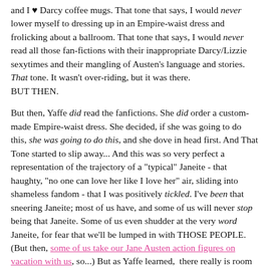and I ♥ Darcy coffee mugs. That tone that says, I would never lower myself to dressing up in an Empire-waist dress and frolicking about a ballroom. That tone that says, I would never read all those fan-fictions with their inappropriate Darcy/Lizzie sexytimes and their mangling of Austen's language and stories. That tone. It wasn't over-riding, but it was there. BUT THEN.
But then, Yaffe did read the fanfictions. She did order a custom-made Empire-waist dress. She decided, if she was going to do this, she was going to do this, and she dove in head first. And That Tone started to slip away... And this was so very perfect a representation of the trajectory of a "typical" Janeite - that haughty, "no one can love her like I love her" air, sliding into shameless fandom - that I was positively tickled. I've been that sneering Janeite; most of us have, and some of us will never stop being that Janeite. Some of us even shudder at the very word Janeite, for fear that we'll be lumped in with THOSE PEOPLE. (But then, some of us take our Jane Austen action figures on vacation with us, so...) But as Yaffe learned, there really is room for all types within the fandom, and as crazy as we are, we all bring a little something to the table. And that slightly-judgy tone in the beginning of the book didn't really